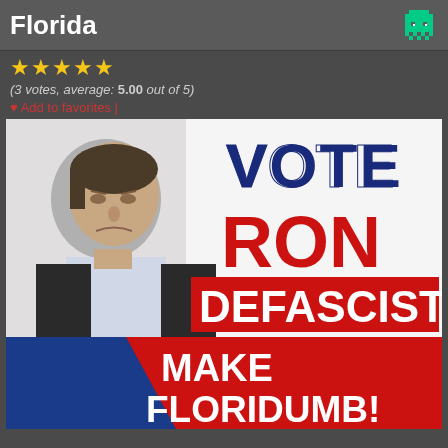Florida
★★★★★ (3 votes, average: 5.00 out of 5)
♥ Add to favorites |
[Figure (photo): Political meme image showing a man with text 'VOTE RON DEFASCIST MAKE FLORIDUMB!']